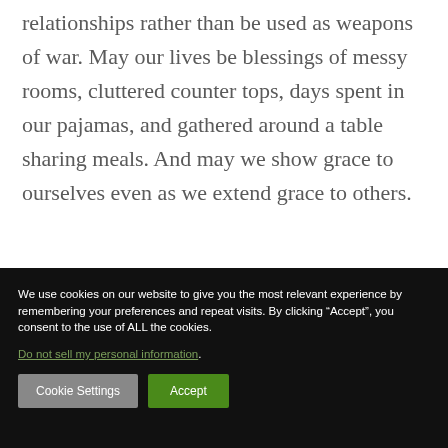relationships rather than be used as weapons of war. May our lives be blessings of messy rooms, cluttered counter tops, days spent in our pajamas, and gathered around a table sharing meals. And may we show grace to ourselves even as we extend grace to others.
We use cookies on our website to give you the most relevant experience by remembering your preferences and repeat visits. By clicking “Accept”, you consent to the use of ALL the cookies. Do not sell my personal information.